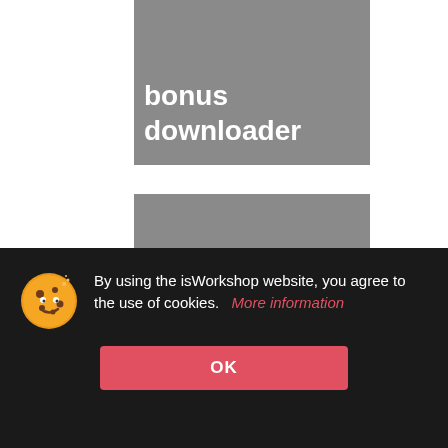[Figure (screenshot): Gray placeholder image box, upper center]
bonus downloader
[Figure (screenshot): Gray placeholder image box, middle center]
[Figure (screenshot): Dark gray box with upward chevron arrow, right side]
By using the isWorkshop website, you agree to the use of cookies.  More information
OK